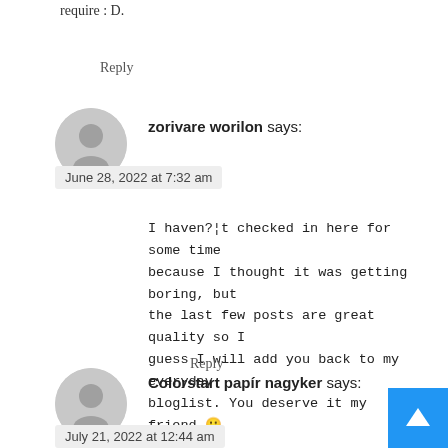require : D.
Reply
[Figure (illustration): Gray circular avatar icon for zorivare worilon]
zorivare worilon says:
June 28, 2022 at 7:32 am
I haven?¦t checked in here for some time because I thought it was getting boring, but the last few posts are great quality so I guess I will add you back to my everyday bloglist. You deserve it my friend 🙂
Reply
[Figure (illustration): Gray circular avatar icon for Colorstart papír nagyker]
Colorstart papír nagyker says:
July 21, 2022 at 12:44 am